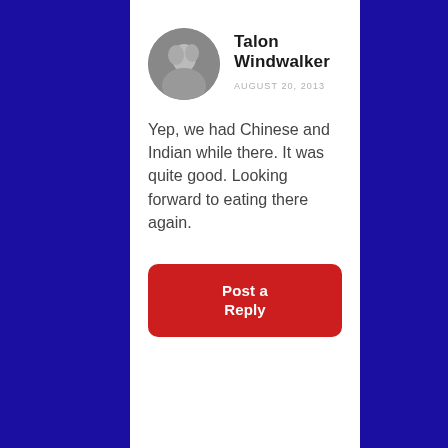[Figure (photo): Circular avatar photo of Talon Windwalker — appears to be a man and woman in an intimate moment, shown in grayscale tones]
Talon Windwalker
AUGUST 20, 2013
Yep, we had Chinese and Indian while there. It was quite good. Looking forward to eating there again.
Post a Reply